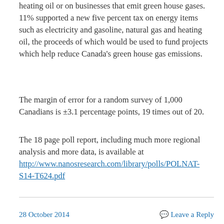heating oil or on businesses that emit green house gases. 11% supported a new five percent tax on energy items such as electricity and gasoline, natural gas and heating oil, the proceeds of which would be used to fund projects which help reduce Canada's green house gas emissions.
The margin of error for a random survey of 1,000 Canadians is ±3.1 percentage points, 19 times out of 20.
The 18 page poll report, including much more regional analysis and more data, is available at http://www.nanosresearch.com/library/polls/POLNAT-S14-T624.pdf
28 October 2014    Leave a Reply